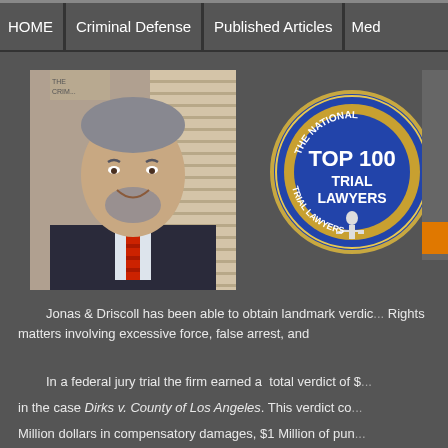HOME | Criminal Defense | Published Articles | Med...
[Figure (photo): Professional headshot of a man in a suit with a red striped tie, smiling, with gray-streaked hair and beard]
[Figure (logo): The National Trial Lawyers Top 100 Trial Lawyers circular badge/seal in blue and gold]
Jonas & Driscoll has been able to obtain landmark verdicts in Civil Rights matters involving excessive force, false arrest, and...
In a federal jury trial the firm earned a total verdict of $... in the case Dirks v. County of Los Angeles. This verdict co... Million dollars in compensatory damages, $1 Million of pun...